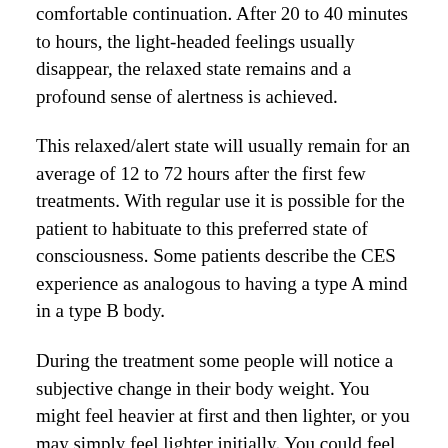comfortable continuation. After 20 to 40 minutes to hours, the light-headed feelings usually disappear, the relaxed state remains and a profound sense of alertness is achieved.
This relaxed/alert state will usually remain for an average of 12 to 72 hours after the first few treatments. With regular use it is possible for the patient to habituate to this preferred state of consciousness. Some patients describe the CES experience as analogous to having a type A mind in a type B body.
During the treatment some people will notice a subjective change in their body weight. You might feel heavier at first and then lighter, or you may simply feel lighter initially. You could feel slightly worse during the heavy cycle, and this feeling could last for days unless extra treatment time is given. Therefore it is important to continue the treatment for a few extra minutes if you should feel heavier at the end of the allotted time, even if it has already been twenty minutes or more. Continue